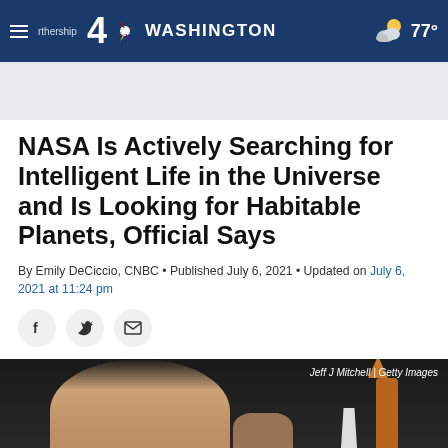4 NBC WASHINGTON  77°
NASA Is Actively Searching for Intelligent Life in the Universe and Is Looking for Habitable Planets, Official Says
By Emily DeCiccio, CNBC • Published July 6, 2021 • Updated on July 6, 2021 at 11:24 pm
[Figure (photo): Social share icons: Facebook, Twitter, Email]
[Figure (photo): Photo of a man gesturing with a rocket model in the background. Credit: Jeff J Mitchell | Getty Images]